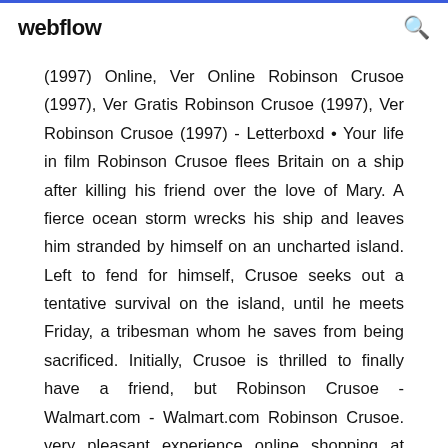webflow
(1997) Online, Ver Online Robinson Crusoe (1997), Ver Gratis Robinson Crusoe (1997), Ver Robinson Crusoe (1997) - Letterboxd • Your life in film Robinson Crusoe flees Britain on a ship after killing his friend over the love of Mary. A fierce ocean storm wrecks his ship and leaves him stranded by himself on an uncharted island. Left to fend for himself, Crusoe seeks out a tentative survival on the island, until he meets Friday, a tribesman whom he saves from being sacrificed. Initially, Crusoe is thrilled to finally have a friend, but Robinson Crusoe - Walmart.com - Walmart.com Robinson Crusoe. very pleasant experience online shopping at Walmart. Have a very large selection of DVD's